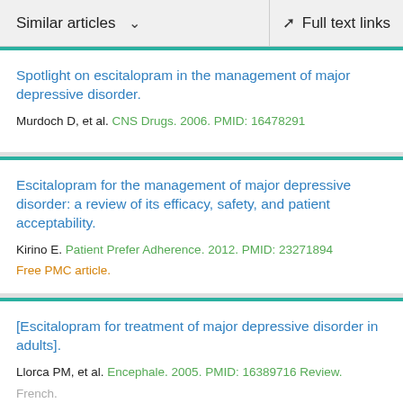Similar articles  ∨   Full text links
Spotlight on escitalopram in the management of major depressive disorder.
Murdoch D, et al. CNS Drugs. 2006. PMID: 16478291
Escitalopram for the management of major depressive disorder: a review of its efficacy, safety, and patient acceptability.
Kirino E. Patient Prefer Adherence. 2012. PMID: 23271894
Free PMC article.
[Escitalopram for treatment of major depressive disorder in adults].
Llorca PM, et al. Encephale. 2005. PMID: 16389716 Review.
French.